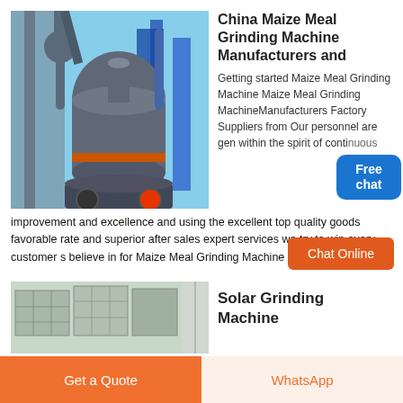[Figure (photo): Industrial grinding machine / mill equipment outdoors with pipes and blue background structures]
China Maize Meal Grinding Machine Manufacturers and
Getting started Maize Meal Grinding Machine Maize Meal Grinding MachineManufacturers Factory Suppliers from Our personnel are gen within the spirit of continuous improvement and excellence and using the excellent top quality goods favorable rate and superior after sales expert services we try to win every customer s believe in for Maize Meal Grinding Machine Wheat
[Figure (photo): Solar grinding machine product photo showing panels/equipment]
Solar Grinding Machine